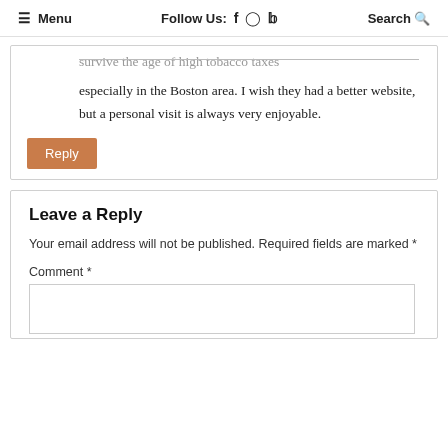≡ Menu   Follow Us: f ⊙ 𝕏   Search 🔍
survive the age of high tobacco taxes especially in the Boston area. I wish they had a better website, but a personal visit is always very enjoyable.
Reply
Leave a Reply
Your email address will not be published. Required fields are marked *
Comment *